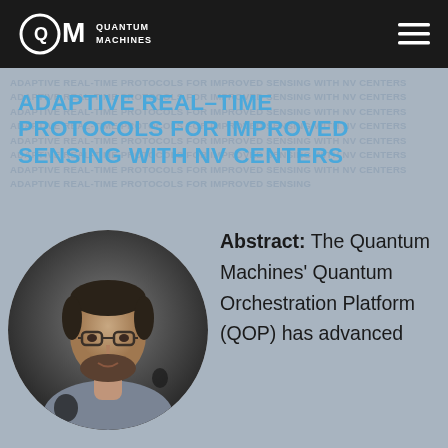QUANTUM MACHINES
ADAPTIVE REAL-TIME PROTOCOLS FOR IMPROVED SENSING WITH NV CENTERS
[Figure (photo): Circular portrait photo of a young man with glasses and a beard, wearing a grey t-shirt, against a dark background]
Abstract: The Quantum Machines' Quantum Orchestration Platform (QOP) has advanced